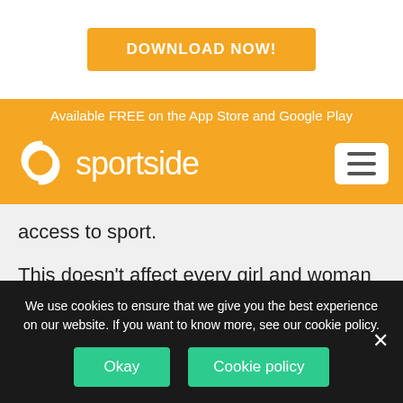[Figure (other): Orange DOWNLOAD NOW! button on white background]
Available FREE on the App Store and Google Play
[Figure (logo): Sportside logo with swirl icon and text on orange/yellow background]
access to sport.
This doesn’t affect every girl and woman in the same way, as other factors such as economic inequality, disability and cultural and ethnic issues can also have a significant
We use cookies to ensure that we give you the best experience on our website. If you want to know more, see our cookie policy.
Okay
Cookie policy